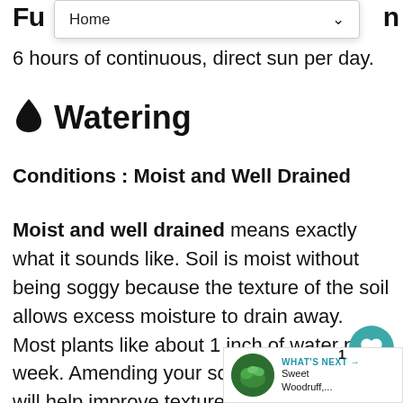Fu
Home
6 hours of continuous, direct sun per day.
💧 Watering
Conditions : Moist and Well Drained
Moist and well drained means exactly what it sounds like. Soil is moist without being soggy because the texture of the soil allows excess moisture to drain away. Most plants like about 1 inch of water per week. Amending your soil with compost will help improve texture and water holding or draining capacity. A 3 inch layer of mulch will help to maintain soil moisture and studies have shown that mulched